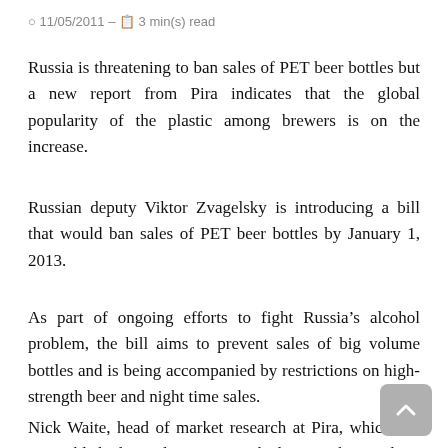11/05/2011 – 3 min(s) read
Russia is threatening to ban sales of PET beer bottles but a new report from Pira indicates that the global popularity of the plastic among brewers is on the increase.
Russian deputy Viktor Zvagelsky is introducing a bill that would ban sales of PET beer bottles by January 1, 2013.
As part of ongoing efforts to fight Russia's alcohol problem, the bill aims to prevent sales of big volume bottles and is being accompanied by restrictions on high-strength beer and night time sales.
Nick Waite, head of market research at Pira, which has just published a study on PET in the beer market, said: